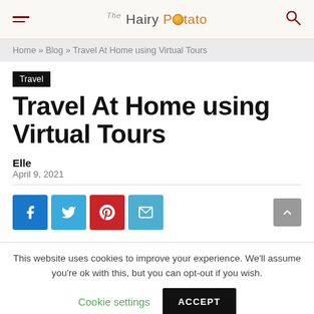The Hairy Potato
Home » Blog » Travel At Home using Virtual Tours
Travel
Travel At Home using Virtual Tours
Elle
April 9, 2021
[Figure (infographic): Social share buttons: Facebook, Twitter, Pinterest, Email. Scroll-to-top arrow button on right.]
This website uses cookies to improve your experience. We'll assume you're ok with this, but you can opt-out if you wish. Cookie settings | ACCEPT